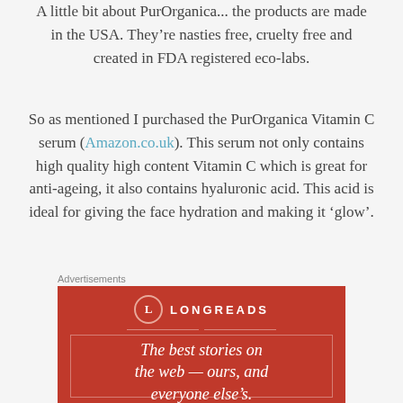A little bit about PurOrganica... the products are made in the USA. They're nasties free, cruelty free and created in FDA registered eco-labs.
So as mentioned I purchased the PurOrganica Vitamin C serum (Amazon.co.uk). This serum not only contains high quality high content Vitamin C which is great for anti-ageing, it also contains hyaluronic acid. This acid is ideal for giving the face hydration and making it 'glow'.
Advertisements
[Figure (other): Longreads advertisement banner on a dark red background with the Longreads logo (circle with L), brand name in spaced capitals, decorative border lines, and tagline: 'The best stories on the web — ours, and everyone else's.']